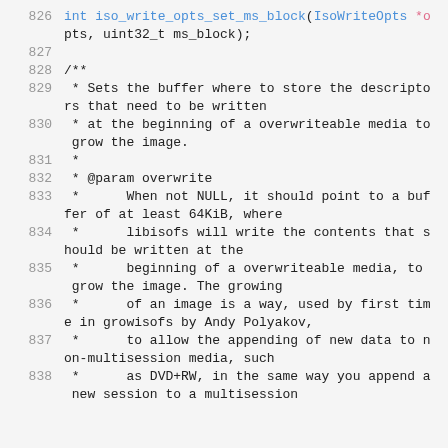826  int iso_write_opts_set_ms_block(IsoWriteOpts *opts, uint32_t ms_block);
827
828  /**
829   * Sets the buffer where to store the descriptors that need to be written
830   * at the beginning of a overwriteable media to grow the image.
831   *
832   * @param overwrite
833   *      When not NULL, it should point to a buffer of at least 64KiB, where
834   *      libisofs will write the contents that should be written at the
835   *      beginning of a overwriteable media, to grow the image. The growing
836   *      of an image is a way, used by first time in growisofs by Andy Polyakov,
837   *      to allow the appending of new data to non-multisession media, such
838   *      as DVD+RW, in the same way you append a new session to a multisession